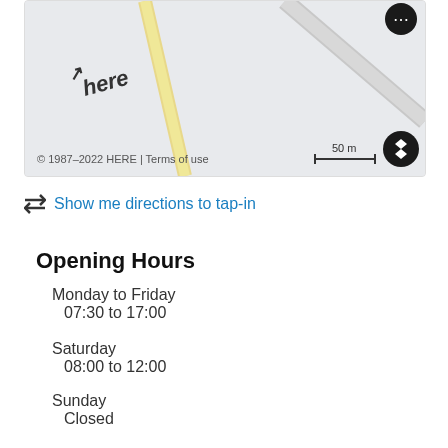[Figure (map): HERE map showing street layout with scale bar reading 50 m, copyright notice '© 1987–2022 HERE | Terms of use', map controls including layer toggle and zoom buttons]
Show me directions to tap-in
Opening Hours
Monday to Friday
07:30 to 17:00
Saturday
08:00 to 12:00
Sunday
Closed
Payment Methods
We accept: